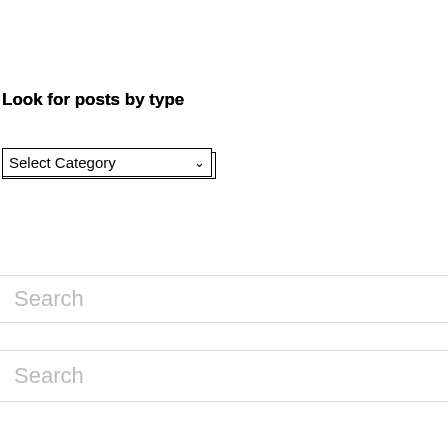Look for posts by type
[Figure (screenshot): Dropdown selector with label 'Select Category' and a chevron arrow]
Search
Collaboration/Learning
Big Dog, Little Dog
Brent Schlenker
Digital Media and Learning
eLearning ++ Blog
eLearning Technology
eLearningLearning
elearningpost
Enterprise Collaborative